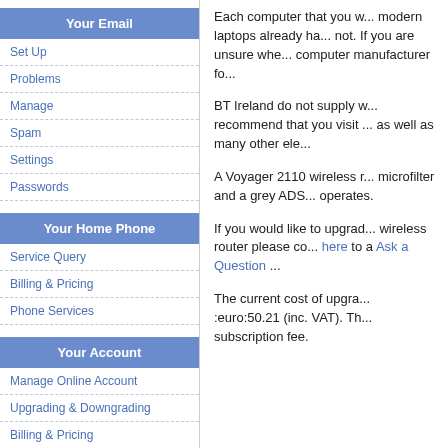Your Email
Set Up
Problems
Manage
Spam
Settings
Passwords
Your Home Phone
Service Query
Billing & Pricing
Phone Services
Your Account
Manage Online Account
Upgrading & Downgrading
Billing & Pricing
Passwords
Moving Home
Cancellation
Each computer that you w... modern laptops already ha... not. If you are unsure whe... computer manufacturer fo...
BT Ireland do not supply w... recommend that you visit ... as well as many other ele...
A Voyager 2110 wireless r... microfilter and a grey ADS... operates.
If you would like to upgrad... wireless router please co... here to a Ask a Question ...
The current cost of upgra... :euro:50.21 (inc. VAT). Th... subscription fee.